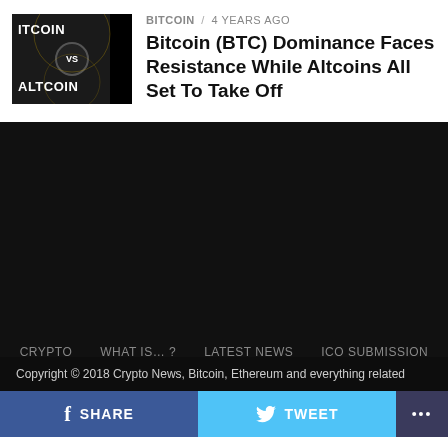[Figure (illustration): Thumbnail image showing 'ITCOIN VS ALTCOIN' text with dark background and black bar on right side]
BITCOIN / 4 years ago
Bitcoin (BTC) Dominance Faces Resistance While Altcoins All Set To Take Off
CRYPTO   WHAT IS...?   LATEST NEWS   ICO SUBMISSION
Copyright © 2018 Crypto News, Bitcoin, Ethereum and everything related
SHARE   TWEET   ...